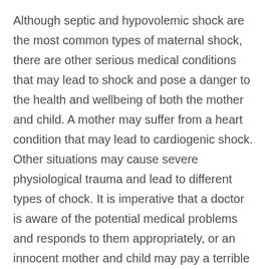Although septic and hypovolemic shock are the most common types of maternal shock, there are other serious medical conditions that may lead to shock and pose a danger to the health and wellbeing of both the mother and child. A mother may suffer from a heart condition that may lead to cardiogenic shock. Other situations may cause severe physiological trauma and lead to different types of chock. It is imperative that a doctor is aware of the potential medical problems and responds to them appropriately, or an innocent mother and child may pay a terrible price.